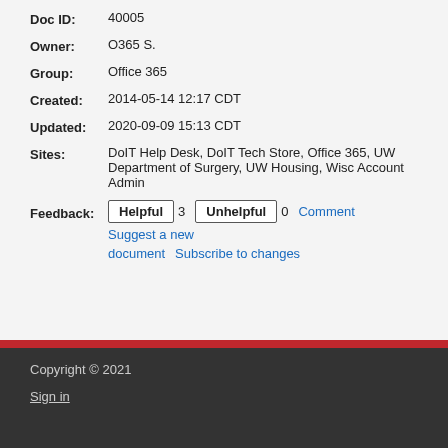Doc ID: 40005
Owner: O365 S.
Group: Office 365
Created: 2014-05-14 12:17 CDT
Updated: 2020-09-09 15:13 CDT
Sites: DoIT Help Desk, DoIT Tech Store, Office 365, UW Department of Surgery, UW Housing, Wisc Account Admin
Feedback: Helpful 3 Unhelpful 0 Comment Suggest a new document Subscribe to changes
Copyright © 2021
Sign in